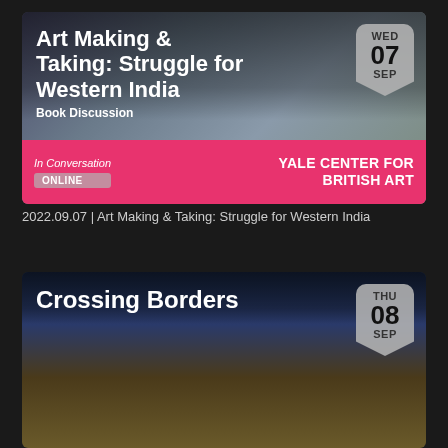[Figure (screenshot): Event card for 'Art Making & Taking: Struggle for Western India' book discussion at Yale Center for British Art, with museum interior background image, date badge WED 07 SEP, pink footer bar with In Conversation label and ONLINE badge]
2022.09.07 | Art Making & Taking: Struggle for Western India
[Figure (screenshot): Event card for 'Crossing Borders' with illuminated building facade at night, date badge THU 08 SEP]